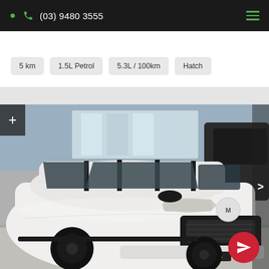(03) 9480 3555
5 km
1.5L Petrol
5.3L / 100km
Hatch
[Figure (photo): White Mazda CX-9 SUV photographed inside a dealership showroom, facing front-right. The vehicle has black wheels and black roof trim. A 'CX-9' badge is visible on the front bumper. Another dark vehicle is visible in the background right. A '+' zoom button appears on the left edge, a '>' navigation arrow on the right edge, and a red circular send/share button in the bottom-right corner.]